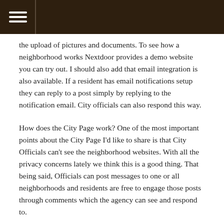[Navigation header with hamburger menu]
the upload of pictures and documents. To see how a neighborhood works Nextdoor provides a demo website you can try out. I should also add that email integration is also available. If a resident has email notifications setup they can reply to a post simply by replying to the notification email. City officials can also respond this way.
How does the City Page work? One of the most important points about the City Page I'd like to share is that City Officials can't see the neighborhood websites. With all the privacy concerns lately we think this is a good thing. That being said, Officials can post messages to one or all neighborhoods and residents are free to engage those posts through comments which the agency can see and respond to.
Agencies are able to add employees as officials on the city page. Each "Official" has a profile that they can make public or private. So an Official posts from the City Page they...